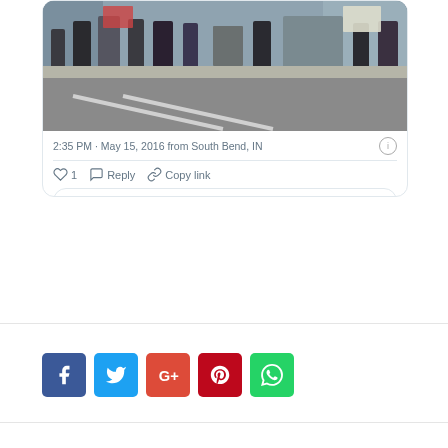[Figure (photo): Street protest scene with people holding signs on a sidewalk near a road, photo embedded in a Twitter/social media card]
2:35 PM · May 15, 2016 from South Bend, IN
1  Reply  Copy link
Explore what's happening on Twitter
[Figure (infographic): Row of social media share buttons: Facebook, Twitter, Google+, Pinterest, WhatsApp]